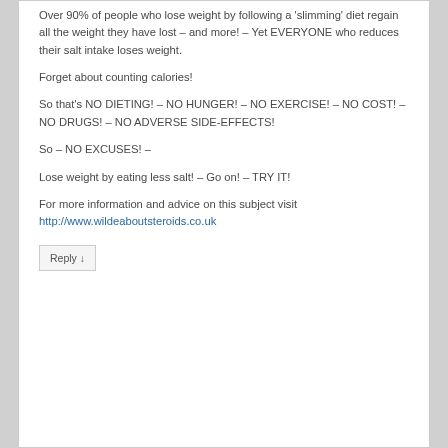Over 90% of people who lose weight by following a 'slimming' diet regain all the weight they have lost – and more! – Yet EVERYONE who reduces their salt intake loses weight.
Forget about counting calories!
So that's NO DIETING! – NO HUNGER! – NO EXERCISE! – NO COST! – NO DRUGS! – NO ADVERSE SIDE-EFFECTS!
So – NO EXCUSES! –
Lose weight by eating less salt! – Go on! – TRY IT!
For more information and advice on this subject visit http://www.wildeaboutsteroids.co.uk
Reply ↓